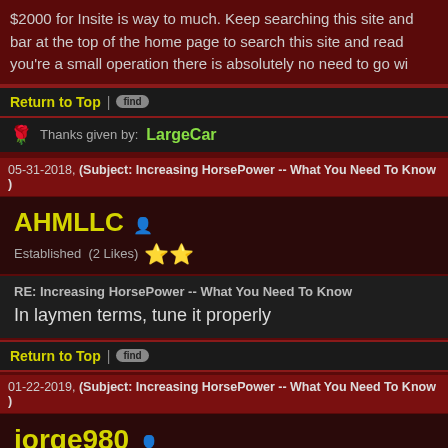$2000 for Insite is way to much. Keep searching this site and bar at the top of the home page to search this site and read you're a small operation there is absolutely no need to go wi
Return to Top | find
Thanks given by: LargeCar
05-31-2018, (Subject: Increasing HorsePower -- What You Need To Know )
AHMLLC
Established  (2 Likes) ★★
RE: Increasing HorsePower -- What You Need To Know
In laymen terms, tune it properly
Return to Top | find
01-22-2019, (Subject: Increasing HorsePower -- What You Need To Know )
jorge980
Established (2 Likes) ★★